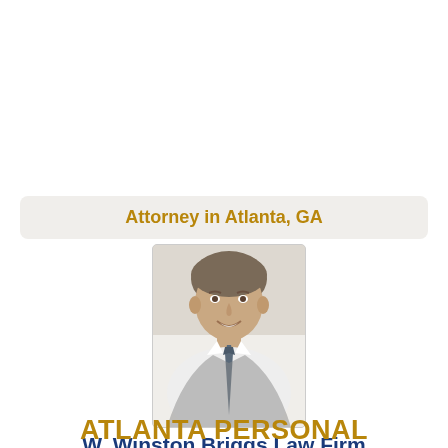Attorney in Atlanta, GA
[Figure (photo): Professional headshot of a middle-aged man in a white shirt and tie, smiling]
W. Winston Briggs Law Firm
ATLANTA PERSONAL